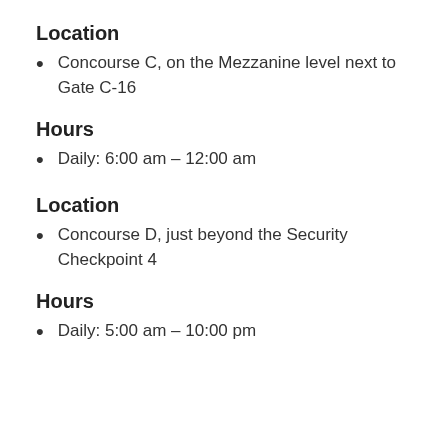Location
Concourse C, on the Mezzanine level next to Gate C-16
Hours
Daily: 6:00 am – 12:00 am
Location
Concourse D, just beyond the Security Checkpoint 4
Hours
Daily: 5:00 am – 10:00 pm